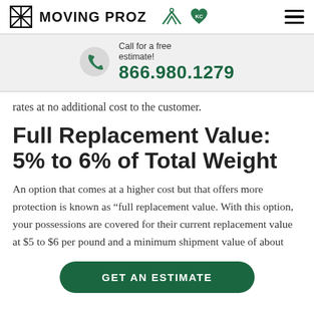MOVING PROZ
Call for a free estimate! 866.980.1279
rates at no additional cost to the customer.
Full Replacement Value: 5% to 6% of Total Weight
An option that comes at a higher cost but that offers more protection is known as “full replacement value. With this option, your possessions are covered for their current replacement value at $5 to $6 per pound and a minimum shipment value of about
GET AN ESTIMATE